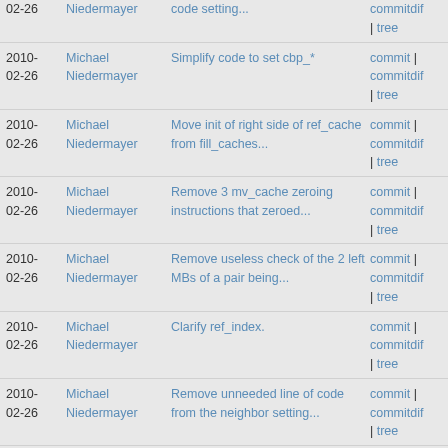2010-02-26 Michael Niedermayer code setting... commitdif | tree
2010-02-26 Michael Niedermayer Simplify code to set cbp_* commit | commitdif | tree
2010-02-26 Michael Niedermayer Move init of right side of ref_cache from fill_caches... commit | commitdif | tree
2010-02-26 Michael Niedermayer Remove 3 mv_cache zeroing instructions that zeroed... commit | commitdif | tree
2010-02-26 Michael Niedermayer Remove useless check of the 2 left MBs of a pair being... commit | commitdif | tree
2010-02-26 Michael Niedermayer Clarify ref_index. commit | commitdif | tree
2010-02-26 Michael Niedermayer Remove unneeded line of code from the neighbor setting... commit | commitdif | tree
2010- Michael Niedermayer Simplify code in mv_pred. commit |